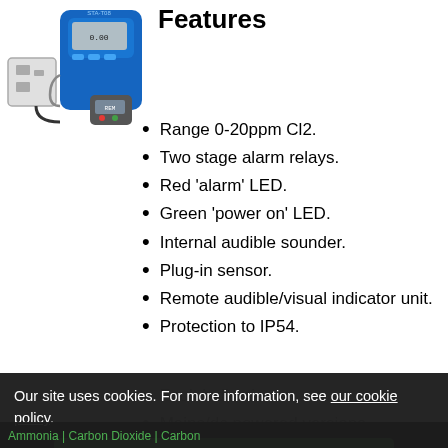[Figure (photo): Photo of a blue gas detector device with display, plugged into a wall socket, with a handheld remote unit.]
Features
Range 0-20ppm Cl2.
Two stage alarm relays.
Red 'alarm' LED.
Green 'power on' LED.
Internal audible sounder.
Plug-in sensor.
Remote audible/visual indicator unit.
Protection to IP54.
Fault indication.
Mains/dc powered versions available.
Our site uses cookies. For more information, see our cookie policy.
Accept cookies and close
Reject cookies
Manage settings
Ammonia | Carbon Dioxide | Carbon